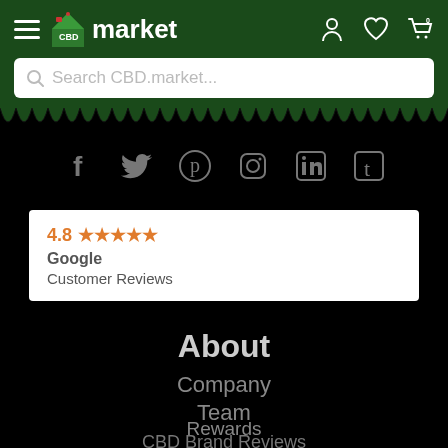[Figure (screenshot): CBD.market website header with logo, hamburger menu, search bar, navigation icons]
[Figure (infographic): Social media icons: Facebook, Twitter, Pinterest, Instagram, LinkedIn, Tumblr]
[Figure (infographic): Google Customer Reviews badge showing 4.8 star rating with orange stars]
About
Company
Team
Rewards
CBD Brand Reviews